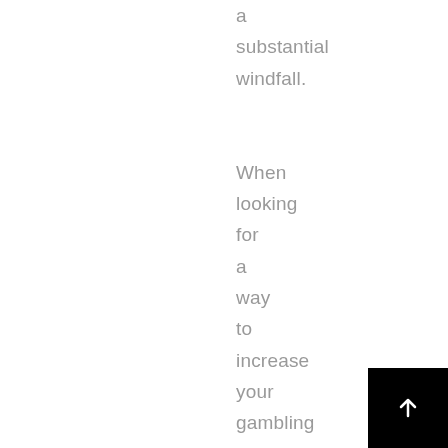a substantial windfall.

When looking for a way to increase your gambling experience, the best way
[Figure (other): Black square button with white upward arrow icon in the bottom-right corner of the page]